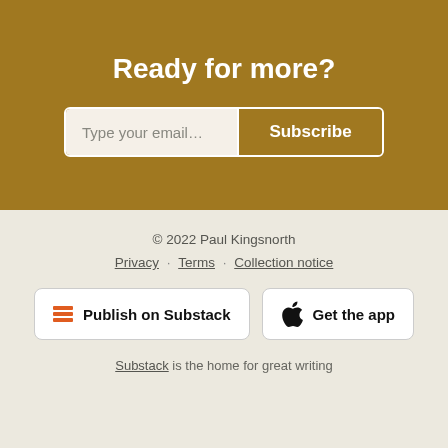Ready for more?
Type your email...
Subscribe
© 2022 Paul Kingsnorth
Privacy · Terms · Collection notice
Publish on Substack
Get the app
Substack is the home for great writing